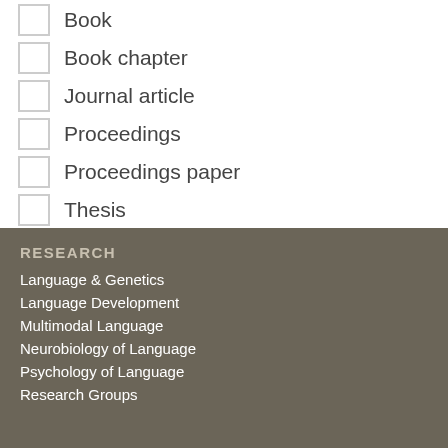Book
Book chapter
Journal article
Proceedings
Proceedings paper
Thesis
RESEARCH
Language & Genetics
Language Development
Multimodal Language
Neurobiology of Language
Psychology of Language
Research Groups